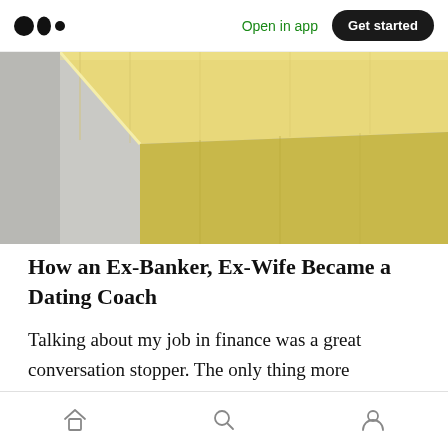Medium logo | Open in app | Get started
[Figure (photo): Close-up photo of a wooden block corner — yellow-tinted wood with visible grain, set against a gray background with soft shadows]
How an Ex-Banker, Ex-Wife Became a Dating Coach
Talking about my job in finance was a great conversation stopper. The only thing more effective was the phrase, “I left work to focus on my kids.”
Home | Search | Profile